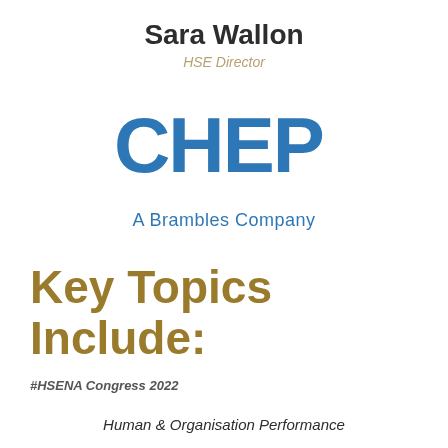Sara Wallon
HSE Director
[Figure (logo): CHEP logo in blue block letters]
A Brambles Company
Key Topics Include:
#HSENA Congress 2022
Human & Organisation Performance